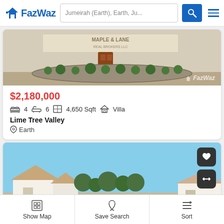FazWaz - Jumeirah (Earth), Earth, Ju...
[Figure (photo): Exterior photo of a property showing a building facade with signage 'MAPLE & LANE REAL BROKERS LLC' and landscaping with small trees, FazWaz watermark visible]
$2,180,000
4 bedrooms  6 bathrooms  4,650 Sqft  Villa
Lime Tree Valley
Earth
[Figure (photo): Exterior photo of a residential villa with light blue sky, trees, and neighboring houses. Heart and swap icons overlay top-right.]
Show Map  Save Search  Sort